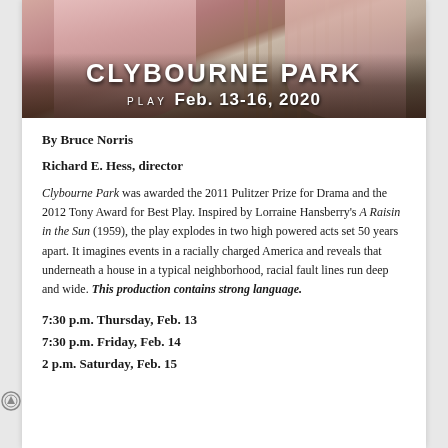[Figure (photo): Promotional banner for Clybourne Park play showing two people in pink shirts with wooden fence background, with text overlay: CLYBOURNE PARK PLAY Feb. 13-16, 2020]
By Bruce Norris
Richard E. Hess, director
Clybourne Park was awarded the 2011 Pulitzer Prize for Drama and the 2012 Tony Award for Best Play. Inspired by Lorraine Hansberry's A Raisin in the Sun (1959), the play explodes in two high powered acts set 50 years apart. It imagines events in a racially charged America and reveals that underneath a house in a typical neighborhood, racial fault lines run deep and wide. This production contains strong language.
7:30 p.m. Thursday, Feb. 13
7:30 p.m. Friday, Feb. 14
2 p.m. Saturday, Feb. 15